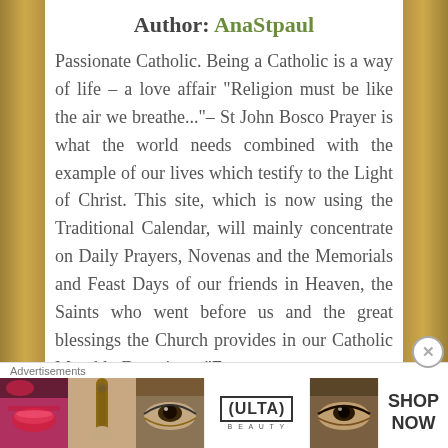Author: AnaStpaul
Passionate Catholic. Being a Catholic is a way of life – a love affair "Religion must be like the air we breathe..."– St John Bosco Prayer is what the world needs combined with the example of our lives which testify to the Light of Christ. This site, which is now using the Traditional Calendar, will mainly concentrate on Daily Prayers, Novenas and the Memorials and Feast Days of our friends in Heaven, the Saints who went before us and the great blessings the Church provides in our Catholic Monthly Devotions. "For
[Figure (photo): Advertisement banner showing Ulta Beauty ad with makeup product photos and SHOP NOW button]